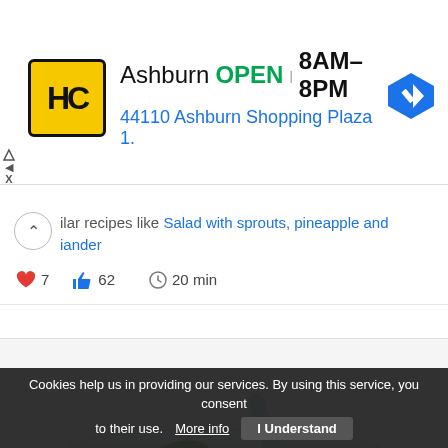[Figure (screenshot): Ad banner showing HC store logo (yellow square with HC letters), store name Ashburn, OPEN status in green, hours 8AM-8PM, address 44110 Ashburn Shopping Plaza 1., and a blue navigation arrow icon on right]
...ilar recipes like Salad with sprouts, pineapple and ...iander
7 likes, 62 thumbs up, 20 min
[Figure (photo): Photo of a pink/berry smoothie in a glass bowl with blueberries, green mint leaves, and a light blue straw, on a white background]
Cookies help us in providing our services. By using this service, you consent to their use. More info | I Understand